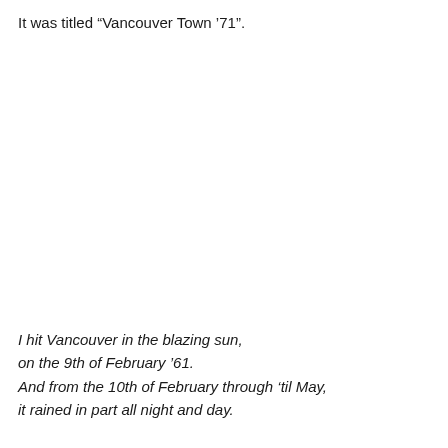It was titled “Vancouver Town ’71”.
I hit Vancouver in the blazing sun,
on the 9th of February ’61.
And from the 10th of February through ‘til May,
it rained in part all night and day.